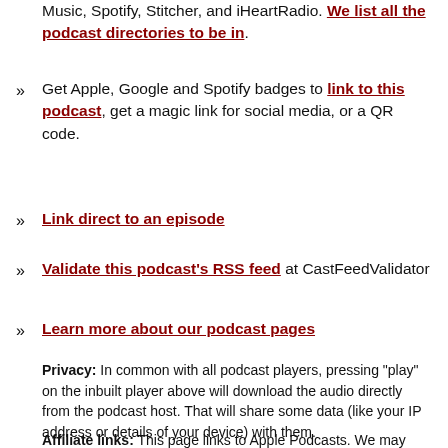Music, Spotify, Stitcher, and iHeartRadio. We list all the podcast directories to be in.
Get Apple, Google and Spotify badges to link to this podcast, get a magic link for social media, or a QR code.
Link direct to an episode
Validate this podcast's RSS feed at CastFeedValidator
Learn more about our podcast pages
Privacy: In common with all podcast players, pressing "play" on the inbuilt player above will download the audio directly from the podcast host. That will share some data (like your IP address or details of your device) with them.
Affiliate links: This page links to Apple Podcasts. We may receive a commission for purchases made via those links.